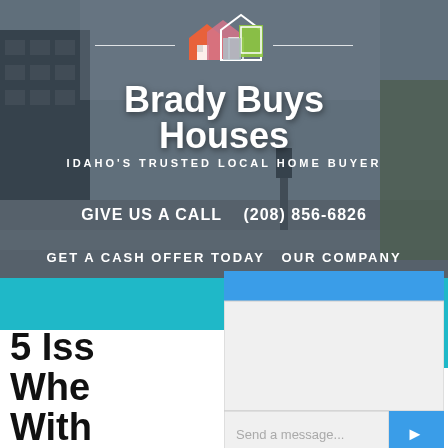[Figure (screenshot): Brady Buys Houses website header with logo showing colorful house icons, brand name, tagline 'Idaho's Trusted Local Home Buyer', phone number, and navigation bar, overlaid on a street scene background photo]
Brady Buys Houses
IDAHO'S TRUSTED LOCAL HOME BUYER
GIVE US A CALL   (208) 856-6826
GET A CASH OFFER TODAY   OUR COMPANY
[Figure (screenshot): Chat widget overlay with blue header bar, light gray message area, text input field with 'Send a message...' placeholder, and blue send button with arrow icon]
5 Issues When Selling With Tenants In Idaho